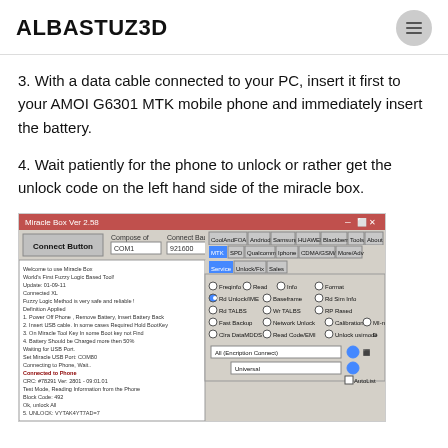ALBASTUZ3D
3. With a data cable connected to your PC, insert it first to your AMOI G6301 MTK mobile phone and immediately insert the battery.
4. Wait patiently for the phone to unlock or rather get the unlock code on the left hand side of the miracle box.
[Figure (screenshot): Screenshot of Miracle Box Ver 2.58 software showing connected phone status, toolbar with MTK, SPD, Qualcomm, Iphone, CDMA/GSM/MI, More/Adv options, and unlock options panel on the right side. Left panel shows connection log text.]